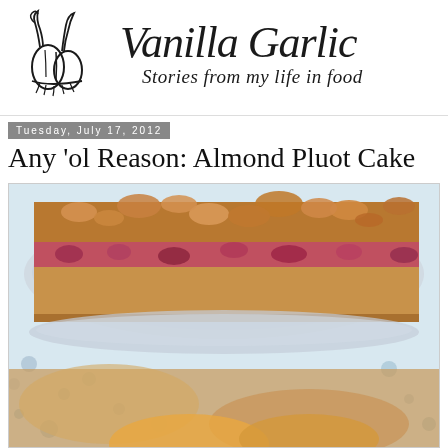[Figure (logo): Vanilla Garlic blog logo: hand-drawn garlic illustration with handwritten text 'Vanilla Garlic' and subtitle 'Stories from my life in food']
Tuesday, July 17, 2012
Any 'ol Reason: Almond Pluot Cake
[Figure (photo): Close-up photo of a slice of almond pluot crumble cake on a blue and white patterned plate, showing the golden-brown crumble topping and red/purple fruit filling inside]